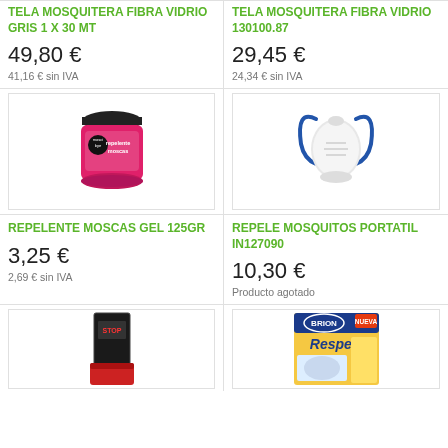TELA MOSQUITERA FIBRA VIDRIO GRIS 1 X 30 MT
49,80 €
41,16 € sin IVA
TELA MOSQUITERA FIBRA VIDRIO 130100.87
29,45 €
24,34 € sin IVA
[Figure (photo): Pink jar of Repelente Moscas Gel 125GR with black lid]
[Figure (photo): White portable mosquito repeller device with blue strap]
REPELENTE MOSCAS GEL 125GR
3,25 €
2,69 € sin IVA
REPELE MOSQUITOS PORTATIL IN127090
10,30 €
Producto agotado
[Figure (photo): Black box product with red container]
[Figure (photo): Brion Respect box product packaging]